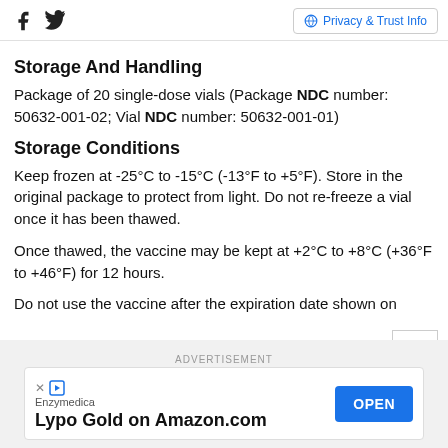Social icons: Facebook, Twitter | Privacy & Trust Info
Storage And Handling
Package of 20 single-dose vials (Package NDC number: 50632-001-02; Vial NDC number: 50632-001-01)
Storage Conditions
Keep frozen at -25°C to -15°C (-13°F to +5°F). Store in the original package to protect from light. Do not re-freeze a vial once it has been thawed.
Once thawed, the vaccine may be kept at +2°C to +8°C (+36°F to +46°F) for 12 hours.
Do not use the vaccine after the expiration date shown on
ADVERTISEMENT
Enzymedica
Lypo Gold on Amazon.com | OPEN